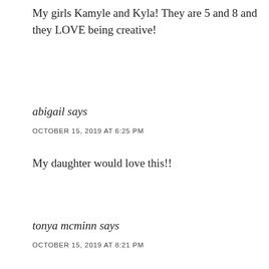My girls Kamyle and Kyla! They are 5 and 8 and they LOVE being creative!
abigail says
OCTOBER 15, 2019 AT 6:25 PM
My daughter would love this!!
tonya mcminn says
OCTOBER 15, 2019 AT 8:21 PM